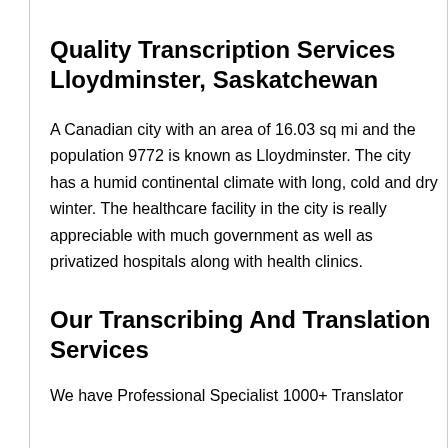Quality Transcription Services Lloydminster, Saskatchewan
A Canadian city with an area of 16.03 sq mi and the population 9772 is known as Lloydminster. The city has a humid continental climate with long, cold and dry winter. The healthcare facility in the city is really appreciable with much government as well as privatized hospitals along with health clinics.
Our Transcribing And Translation Services
We have Professional Specialist 1000+ Translator